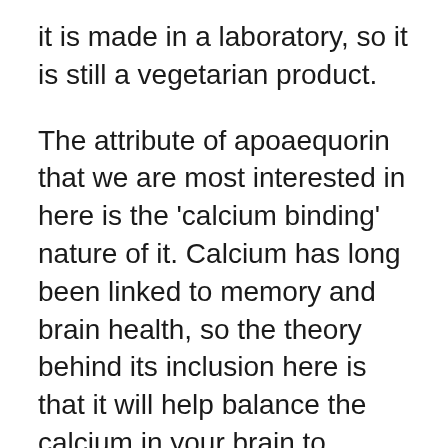it is made in a laboratory, so it is still a vegetarian product.
The attribute of apoaequorin that we are most interested in here is the 'calcium binding' nature of it. Calcium has long been linked to memory and brain health, so the theory behind its inclusion here is that it will help balance the calcium in your brain to improve the overall health of your brain.
While the team behind Prevagen have conducted their own research, it is generally thought in the world of medicine that more scientific studies need to be conducted before we can be sure of the impact that